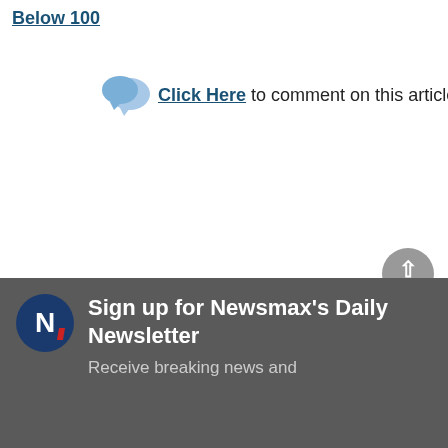Below 100
Click Here to comment on this article
[Figure (illustration): Newsmax newsletter signup banner with logo, title 'Sign up for Newsmax's Daily Newsletter', and subtitle 'Receive breaking news and']